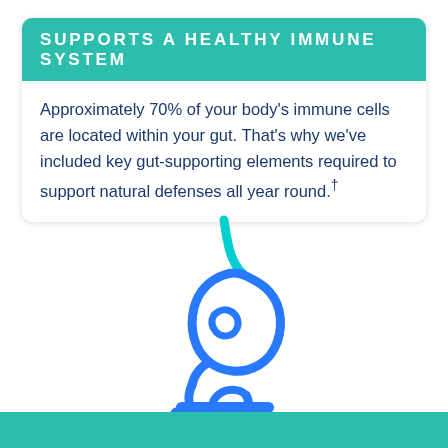Supports a Healthy Immune System
Approximately 70% of your body's immune cells are located within your gut. That's why we've included key gut-supporting elements required to support natural defenses all year round.†
[Figure (illustration): Line art icon of stomach and intestines in blue gradient, representing gut health]